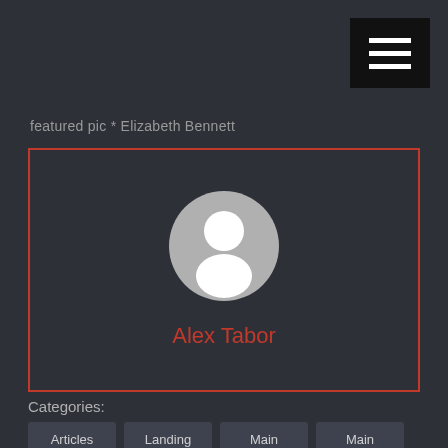[Figure (other): Hamburger menu icon — three white horizontal lines on black background, top-right corner]
featured pic * Elizabeth Bennett
[Figure (illustration): Profile card with a generic user avatar (grey circle with white silhouette person) and the name 'Alex Tabor' in red text, inside a red-bordered rectangle on dark background]
Categories:
Articles
Landing
Main
Main
Tazewell
Virginia High